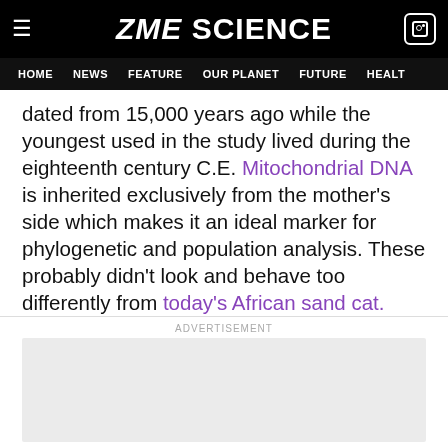ZME SCIENCE — HOME | NEWS | FEATURE | OUR PLANET | FUTURE | HEALT
dated from 15,000 years ago while the youngest used in the study lived during the eighteenth century C.E. Mitochondrial DNA is inherited exclusively from the mother's side which makes it an ideal marker for phylogenetic and population analysis. These probably didn't look and behave too differently from today's African sand cat.
ADVERTISEMENT